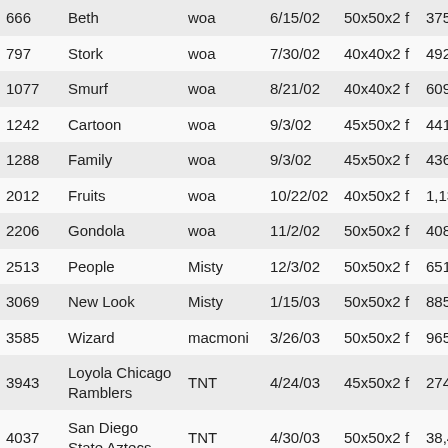| 666 | Beth | woa | 6/15/02 | 50x50x2 f | 375,976 |
| 797 | Stork | woa | 7/30/02 | 40x40x2 f | 492,228 |
| 1077 | Smurf | woa | 8/21/02 | 40x40x2 f | 609,533 |
| 1242 | Cartoon | woa | 9/3/02 | 45x50x2 f | 441,692 |
| 1288 | Family | woa | 9/3/02 | 45x50x2 f | 436,241 |
| 2012 | Fruits | woa | 10/22/02 | 40x50x2 f | 1,134,312 |
| 2206 | Gondola | woa | 11/2/02 | 50x50x2 f | 408,753 |
| 2513 | People | Misty | 12/3/02 | 50x50x2 f | 651,199 |
| 3069 | New Look | Misty | 1/15/03 | 50x50x2 f | 885,121 |
| 3585 | Wizard | macmoni | 3/26/03 | 50x50x2 f | 965,835 |
| 3943 | Loyola Chicago Ramblers | TNT | 4/24/03 | 45x50x2 f | 274,056 |
| 4037 | San Diego State Aztecs | TNT | 4/30/03 | 50x50x2 f | 38,487 |
| 4573 | Heavy Match... | TNT | 5/18/03 | 50x50x2 f | 2,005... |